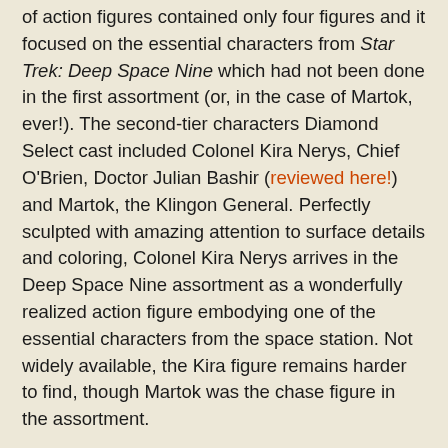of action figures contained only four figures and it focused on the essential characters from Star Trek: Deep Space Nine which had not been done in the first assortment (or, in the case of Martok, ever!). The second-tier characters Diamond Select cast included Colonel Kira Nerys, Chief O'Brien, Doctor Julian Bashir (reviewed here!) and Martok, the Klingon General. Perfectly sculpted with amazing attention to surface details and coloring, Colonel Kira Nerys arrives in the Deep Space Nine assortment as a wonderfully realized action figure embodying one of the essential characters from the space station. Not widely available, the Kira figure remains harder to find, though Martok was the chase figure in the assortment.
The Colonel Kira Nerys figure is the Command branch officer as she appeared in the final few episodes of the seventh season of Star Trek: Deep Space Nine (reviewed here!), when Kira was training the Cardassian Resistance. This means that Kira in this form is wearing a StarFleet uniform; not her Bajoran one! This Kira is coiffed in the gray and black costume that became the standard on Deep Space Nine because it was the uniform being used in Star